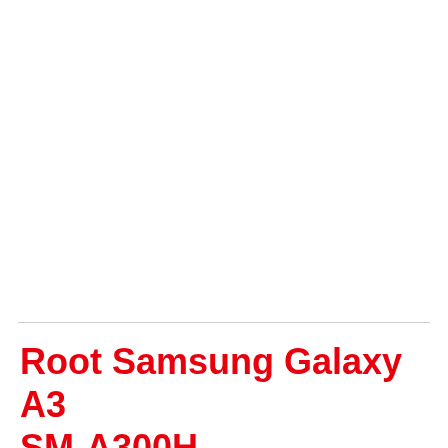Root Samsung Galaxy A3 SM-A300H